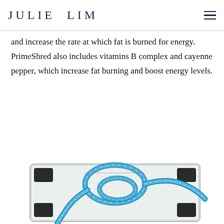JULIE LIM
and increase the rate at which fat is burned for energy. PrimeShred also includes vitamins B complex and cayenne pepper, which increase fat burning and boost energy levels.
[Figure (photo): A glass bathroom scale with a blue measuring tape coiled on top of it, against a white background.]